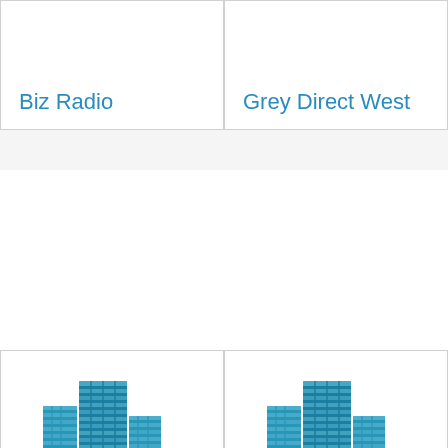Biz Radio
Grey Direct West
[Figure (illustration): Blue office building icon]
Curtis 1000 (A Taylor Company)
[Figure (illustration): Blue office building icon]
Certified Staffing
[Figure (illustration): Blue office building icon]
Copy.Com
[Figure (illustration): Blue office building icon]
Water Studio